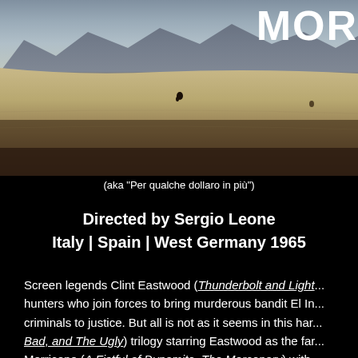[Figure (photo): Desert landscape scene, wide arid plain with mountains in background, a small figure on horseback visible in the distance. Film still from a Western movie. Partial text 'MOR' visible in top right corner in bold white letters.]
(aka "Per qualche dollaro in più")
Directed by Sergio Leone
Italy | Spain | West Germany 1965
Screen legends Clint Eastwood (Thunderbolt and Light... hunters who join forces to bring murderous bandit El In... criminals to justice. But all is not as it seems in this har... Bad, and The Ugly) trilogy starring Eastwood as the far... Morricone (A Fistful of Dynamite, The Mercenary) with